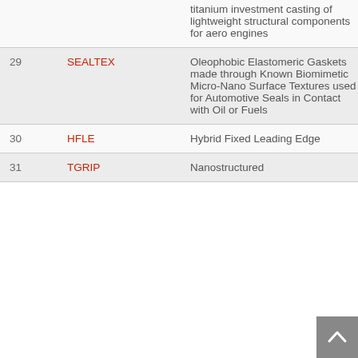| # | Name | Description | Year |
| --- | --- | --- | --- |
|  |  | titanium investment casting of lightweight structural components for aero engines |  |
| 29 | SEALTEX | Oleophobic Elastomeric Gaskets made through Known Biomimetic Micro-Nano Surface Textures used for Automotive Seals in Contact with Oil or Fuels | 2017 |
| 30 | HFLE | Hybrid Fixed Leading Edge | 2017 |
| 31 | TGRIP | Nanostructured | 2017 |